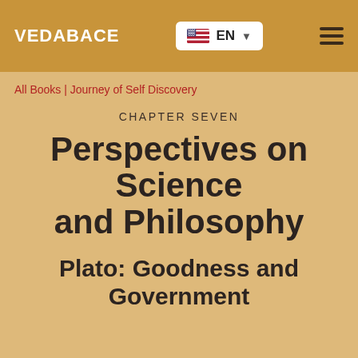VEDABACE   EN   ☰
All Books | Journey of Self Discovery
CHAPTER SEVEN
Perspectives on Science and Philosophy
Plato: Goodness and Government